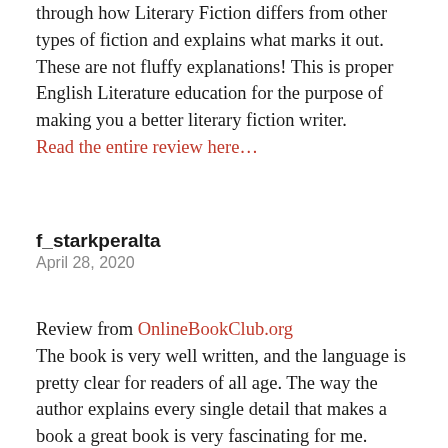through how Literary Fiction differs from other types of fiction and explains what marks it out. These are not fluffy explanations! This is proper English Literature education for the purpose of making you a better literary fiction writer.
Read the entire review here…
f_starkperalta
April 28, 2020
Review from OnlineBookClub.org The book is very well written, and the language is pretty clear for readers of all age. The way the author explains every single detail that makes a book a great book is very fascinating for me. Personally, I found it so helpful reading this book as I love writing fictional stories as well and this guide is the perfect thing to read if you want to understand the art of literature better but this book 4/4 for me and I highly